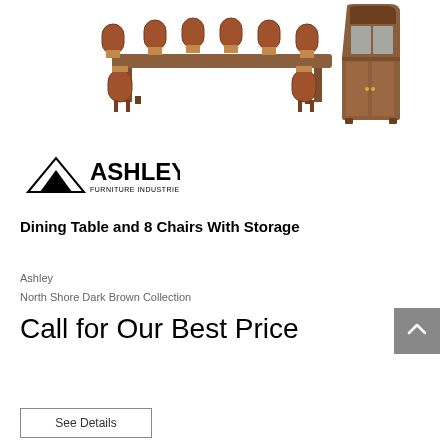[Figure (photo): Dining table with 8 upholstered chairs and a large dark wood china cabinet/hutch with glass doors]
[Figure (logo): Ashley Furniture Industries, LLC logo with mountain triangle graphic]
Dining Table and 8 Chairs With Storage
Ashley
North Shore Dark Brown Collection
Call for Our Best Price
See Details